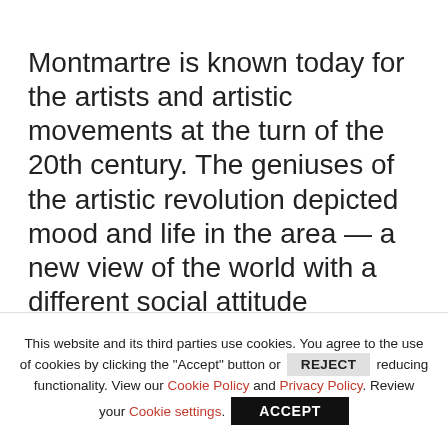Montmartre is known today for the artists and artistic movements at the turn of the 20th century. The geniuses of the artistic revolution depicted mood and life in the area — a new view of the world with a different social attitude expressed impressionistically...Picasso is said to have painted the fist cubist work there — Les Demoiselles d'Avignon, Toulouse Lautrec painted much about the cabaret life including
This website and its third parties use cookies. You agree to the use of cookies by clicking the "Accept" button or REJECT reducing functionality. View our Cookie Policy and Privacy Policy. Review your Cookie settings. ACCEPT